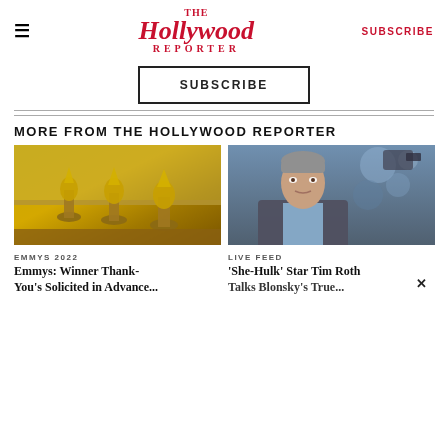The Hollywood Reporter | SUBSCRIBE
SUBSCRIBE
MORE FROM THE HOLLYWOOD REPORTER
[Figure (photo): Emmy Award trophies displayed on a table with golden statues]
EMMYS 2022
Emmys: Winner Thank-You's Solicited in Advance...
[Figure (photo): Tim Roth, actor, at a press event with photographers in background]
LIVE FEED
'She-Hulk' Star Tim Roth Talks Blonsky's True...